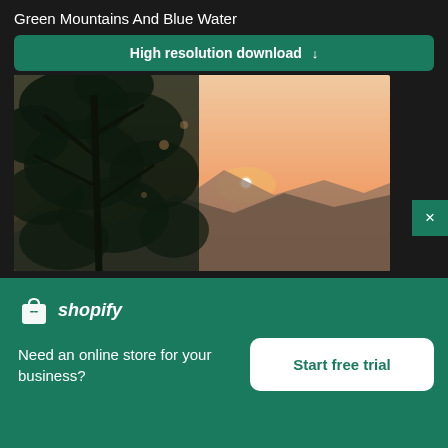Green Mountains And Blue Water
High resolution download ↓
[Figure (photo): Sunset landscape photo with silhouetted tree leaves in foreground, mountains in background, warm orange sky with sun near horizon]
×
[Figure (logo): Shopify logo with shopping bag icon and italic shopify text in white]
Need an online store for your business?
Start free trial